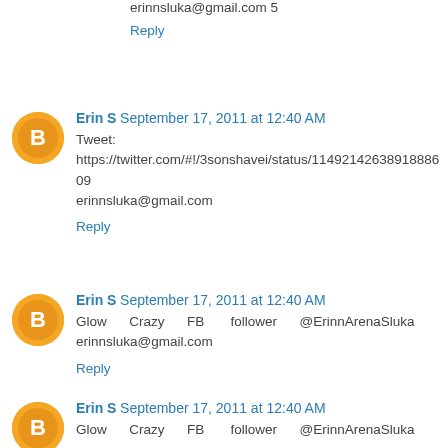erinnsluka@gmail.com 5
Reply
Erin S September 17, 2011 at 12:40 AM
Tweet:
https://twitter.com/#!/3sonshavei/status/114921426389188609
erinnsluka@gmail.com
Reply
Erin S September 17, 2011 at 12:40 AM
Glow Crazy FB follower @ErinnArenaSluka
erinnsluka@gmail.com
Reply
Erin S September 17, 2011 at 12:40 AM
Glow Crazy FB follower @ErinnArenaSluka